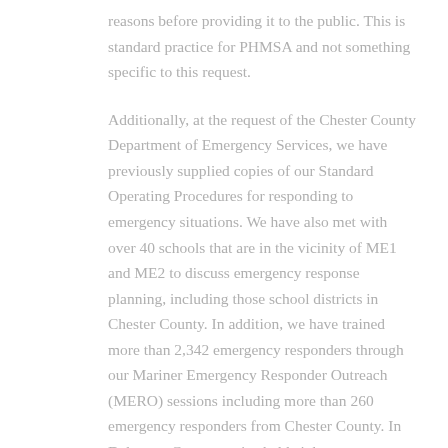reasons before providing it to the public. This is standard practice for PHMSA and not something specific to this request.
Additionally, at the request of the Chester County Department of Emergency Services, we have previously supplied copies of our Standard Operating Procedures for responding to emergency situations. We have also met with over 40 schools that are in the vicinity of ME1 and ME2 to discuss emergency response planning, including those school districts in Chester County. In addition, we have trained more than 2,342 emergency responders through our Mariner Emergency Responder Outreach (MERO) sessions including more than 260 emergency responders from Chester County. In Delaware County, we've held eight